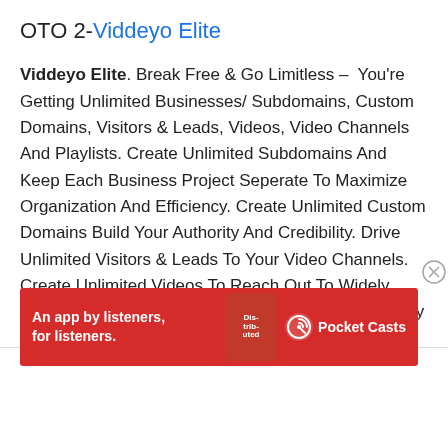OTO 2-Viddeyo Elite
Viddeyo Elite. Break Free & Go Limitless – You're Getting Unlimited Businesses/ Subdomains, Custom Domains, Visitors & Leads, Videos, Video Channels And Playlists. Create Unlimited Subdomains And Keep Each Business Project Seperate To Maximize Organization And Efficiency. Create Unlimited Custom Domains Build Your Authority And Credibility. Drive Unlimited Visitors & Leads To Your Video Channels. Create Unlimited Videos To Reach Out To Widely Scattered Audience. Get Unlimited Bandwidth To Play All Your Videos Without Getting Worried Of Any Limitations Of Views, Visitors And
[Figure (other): Advertisement banner for Pocket Casts app — red background with text 'An app by listeners, for listeners.' and Pocket Casts logo with phone image showing 'Distributed' book cover]